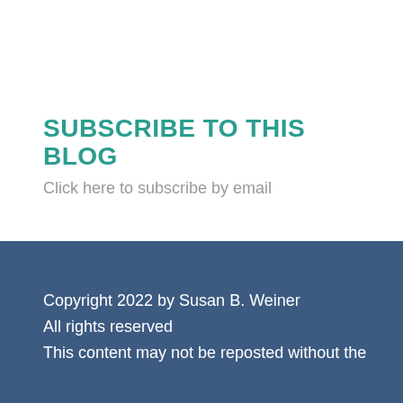SUBSCRIBE TO THIS BLOG
Click here to subscribe by email
Copyright 2022 by Susan B. Weiner
All rights reserved
This content may not be reposted without the